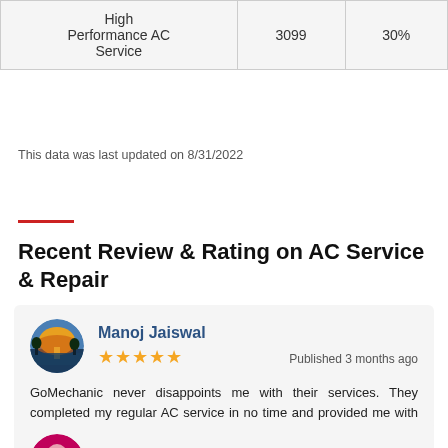|  |  |  |
| --- | --- | --- |
| High Performance AC Service | 3099 | 30% |
This data was last updated on 8/31/2022
Recent Review & Rating on AC Service & Repair
Manoj Jaiswal
★★★★★ Published 3 months ago
GoMechanic never disappoints me with their services. They completed my regular AC service in no time and provided me with a reasonable bill.
Mayank Bansal